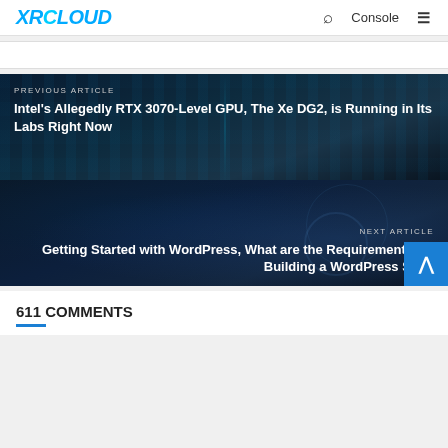XRCLOUD | Console | Search | Menu
[Figure (screenshot): Previous article navigation banner with dark server room background. Label: PREVIOUS ARTICLE. Title: Intel's Allegedly RTX 3070-Level GPU, The Xe DG2, is Running in Its Labs Right Now]
[Figure (screenshot): Next article navigation banner with dark digital/circuit background. Label: NEXT ARTICLE. Title: Getting Started with WordPress, What are the Requirements for Building a WordPress Site?]
611 COMMENTS